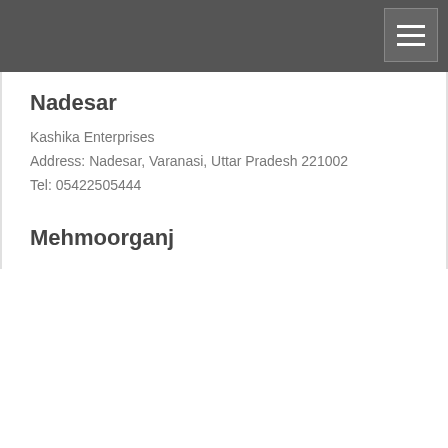Nadesar
Kashika Enterprises
Address: Nadesar, Varanasi, Uttar Pradesh 221002
Tel: 05422505444
Mehmoorganj